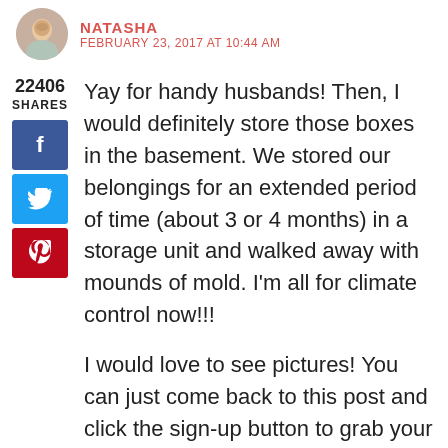NATASHA — FEBRUARY 23, 2017 AT 10:44 AM
Yay for handy husbands! Then, I would definitely store those boxes in the basement. We stored our belongings for an extended period of time (about 3 or 4 months) in a storage unit and walked away with mounds of mold. I'm all for climate control now!!!
I would love to see pictures! You can just come back to this post and click the sign-up button to grab your free